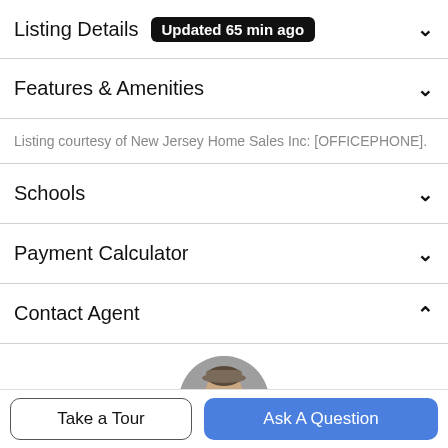Listing Details  Updated 65 min ago
Features & Amenities
Listing courtesy of New Jersey Home Sales Inc: [OFFICEPHONE].
Schools
Payment Calculator
Contact Agent
[Figure (photo): Circular profile photo of a male real estate agent]
Take a Tour
Ask A Question